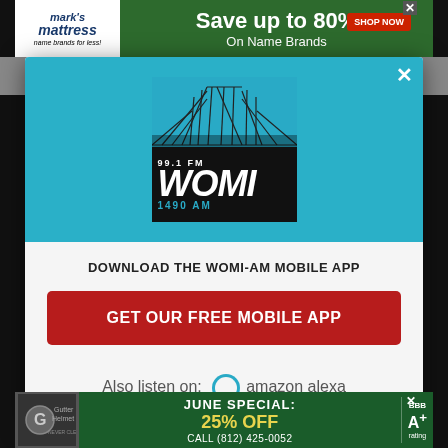[Figure (screenshot): Top banner advertisement for Mark's Mattress: 'Save up to 80% On Name Brands' with SHOP NOW button]
[Figure (logo): 99.1 FM WOMI 1490 AM radio station logo — white WOMI text on black background with teal bridge graphic]
DOWNLOAD THE WOMI-AM MOBILE APP
GET OUR FREE MOBILE APP
Also listen on: amazon alexa
[Figure (screenshot): Bottom banner advertisement for Gutter Helmet: 'JUNE SPECIAL: 25% OFF CALL (812) 425-0052' with BBB A+ rating]